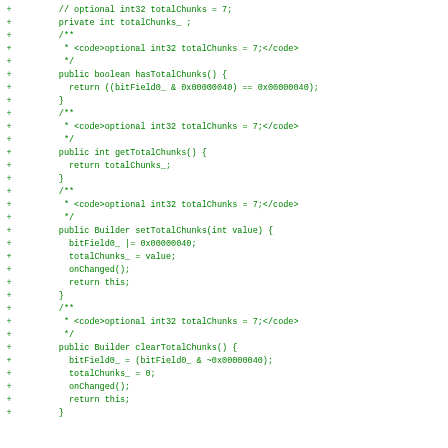[Figure (screenshot): Code diff screenshot showing Java source code additions (lines marked with +) for a Builder class implementing totalChunks field with hasTotalChunks(), getTotalChunks(), setTotalChunks(), and clearTotalChunks() methods, displayed in green monospace font on white background.]